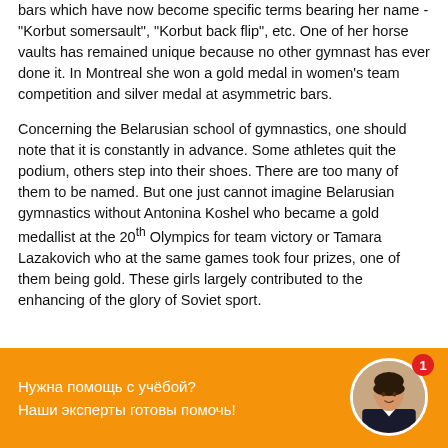bars which have now become specific terms bearing her name - "Korbut somersault", "Korbut back flip", etc. One of her horse vaults has remained unique because no other gymnast has ever done it. In Montreal she won a gold medal in women's team competition and silver medal at asymmetric bars.
Concerning the Belarusian school of gymnastics, one should note that it is constantly in advance. Some athletes quit the podium, others step into their shoes. There are too many of them to be named. But one just cannot imagine Belarusian gymnastics without Antonina Koshel who became a gold medallist at the 20th Olympics for team victory or Tamara Lazakovich who at the same games took four prizes, one of them being gold. These girls largely contributed to the enhancing of the glory of Soviet sport.
Нужна помощь с учёбой?
Наши эксперты готовы помочь!